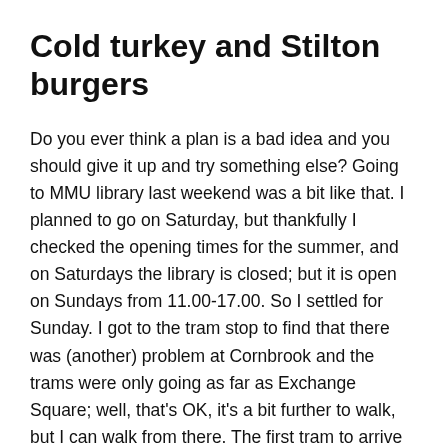Cold turkey and Stilton burgers
Do you ever think a plan is a bad idea and you should give it up and try something else? Going to MMU library last weekend was a bit like that. I planned to go on Saturday, but thankfully I checked the opening times for the summer, and on Saturdays the library is closed; but it is open on Sundays from 11.00-17.00. So I settled for Sunday. I got to the tram stop to find that there was (another) problem at Cornbrook and the trams were only going as far as Exchange Square; well, that's OK, it's a bit further to walk, but I can walk from there. The first tram to arrive was only going to Monsall; and anyway, it wasn't in service. I decided that if the second tram was also going to Monsall I'd get in my car and go home again, leave the library for